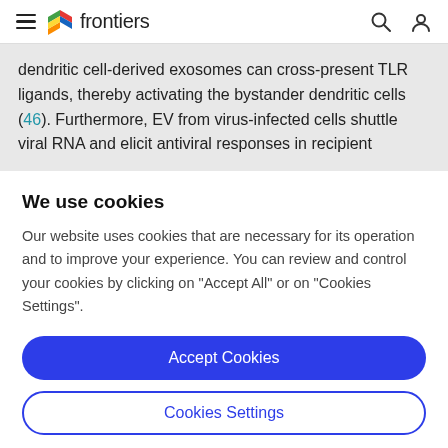frontiers
dendritic cell-derived exosomes can cross-present TLR ligands, thereby activating the bystander dendritic cells (46). Furthermore, EV from virus-infected cells shuttle viral RNA and elicit antiviral responses in recipient
We use cookies
Our website uses cookies that are necessary for its operation and to improve your experience. You can review and control your cookies by clicking on "Accept All" or on "Cookies Settings".
Accept Cookies
Cookies Settings